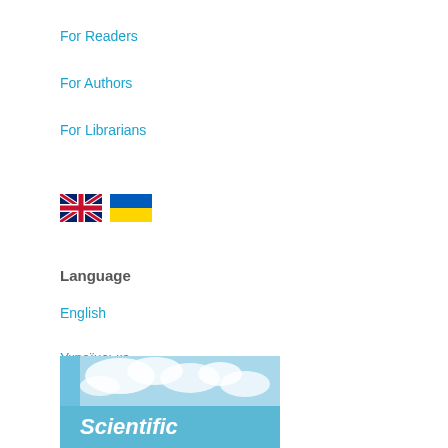For Readers
For Authors
For Librarians
[Figure (illustration): UK flag and Ukrainian flag icons side by side]
Language
English
Українська
[Figure (logo): Scientific logo/banner with blue sky and clouds background, text 'Scientific' visible]